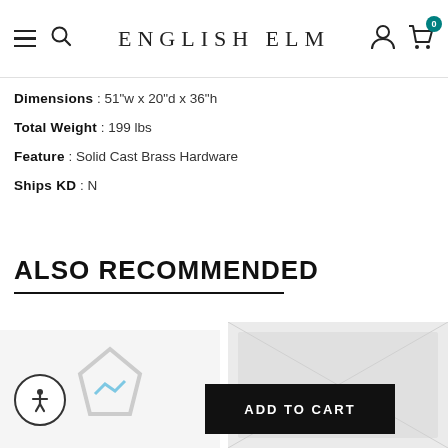ENGLISH ELM
Dimensions : 51"w x 20"d x 36"h
Total Weight : 199 lbs
Feature : Solid Cast Brass Hardware
Ships KD : N
ALSO RECOMMENDED
[Figure (photo): Product thumbnail placeholder left]
[Figure (photo): Product thumbnail placeholder right]